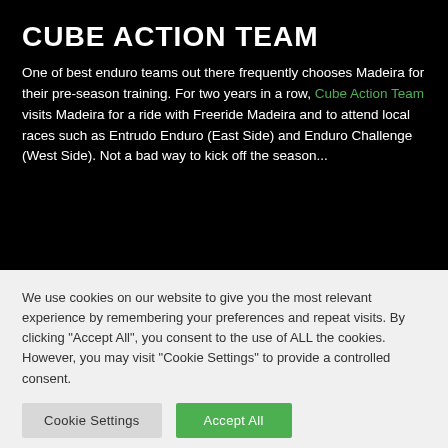CUBE ACTION TEAM
One of best enduro teams out there frequently chooses Madeira for their pre-season training. For two years in a row, Cube Action Team visits Madeira for a ride with Freeride Madeira and to attend local races such as Entrudo Enduro (East Side) and Enduro Challenge (West Side). Not a bad way to kick off the season...
We use cookies on our website to give you the most relevant experience by remembering your preferences and repeat visits. By clicking "Accept All", you consent to the use of ALL the cookies. However, you may visit "Cookie Settings" to provide a controlled consent.
Cookie Settings | Accept All